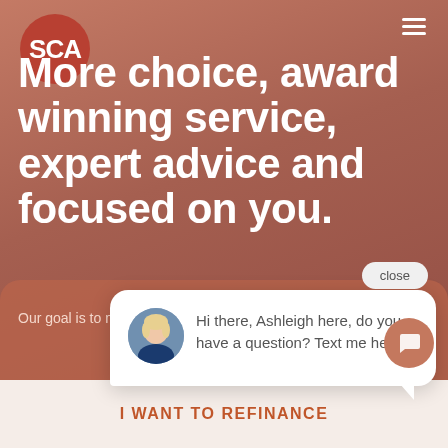[Figure (screenshot): SCA mortgage/finance website screenshot showing a house background with terracotta overlay, SCA logo, headline text, a chat popup from Ashleigh, and a bottom CTA bar.]
SCA
More choice, award winning service, expert advice and focused on you.
Our goal is to make the mortgage si...
close
Hi there, Ashleigh here, do you have a question? Text me here.
I WANT TO REFINANCE